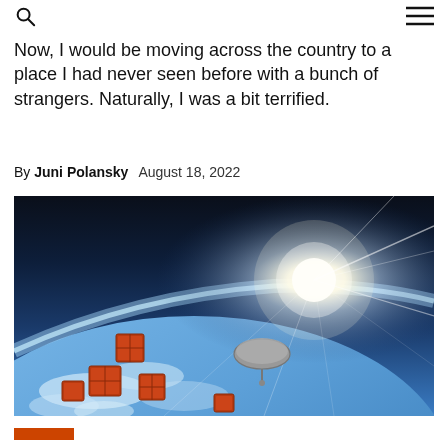[search icon] [menu icon]
Now, I would be moving across the country to a place I had never seen before with a bunch of strangers. Naturally, I was a bit terrified.
By Juni Polansky   August 18, 2022
[Figure (photo): View from space showing Earth's curved horizon with sunlight glare and small satellite/cubesat objects floating in the foreground against the blue Earth and atmosphere.]
[Figure (other): Partial orange/red bar or logo element visible at bottom of page]